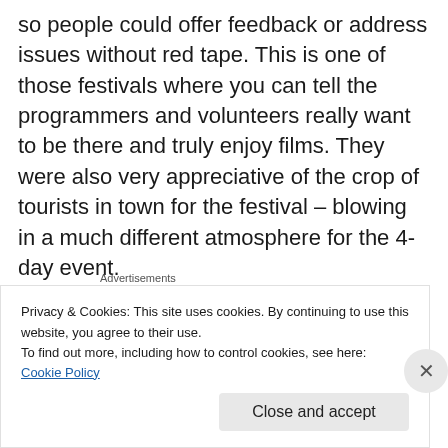so people could offer feedback or address issues without red tape. This is one of those festivals where you can tell the programmers and volunteers really want to be there and truly enjoy films. They were also very appreciative of the crop of tourists in town for the festival – blowing in a much different atmosphere for the 4-day event.
[Figure (other): WordPress advertisement banner: 'Create immersive stories. GET THE APP' with WordPress logo on a blue-to-gold gradient background]
[Figure (photo): Dark nighttime photo strip showing vertical light streaks and a bright light point against a dark background]
Privacy & Cookies: This site uses cookies. By continuing to use this website, you agree to their use.
To find out more, including how to control cookies, see here: Cookie Policy